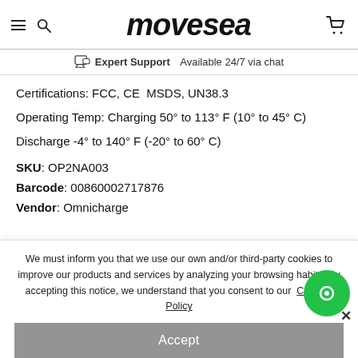movesea
Expert Support  Available 24/7 via chat
Certifications: FCC, CE  MSDS, UN38.3
Operating Temp: Charging 50° to 113° F (10° to 45° C)
Discharge -4° to 140° F (-20° to 60° C)
SKU: OP2NA003
Barcode: 00860002717876
Vendor: Omnicharge
We must inform you that we use our own and/or third-party cookies to improve our products and services by analyzing your browsing habits. By accepting this notice, we understand that you consent to our Cookies Policy